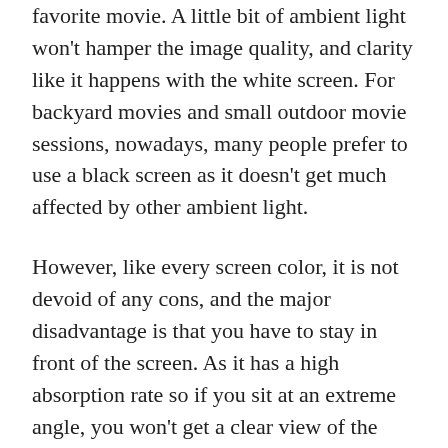favorite movie. A little bit of ambient light won't hamper the image quality, and clarity like it happens with the white screen. For backyard movies and small outdoor movie sessions, nowadays, many people prefer to use a black screen as it doesn't get much affected by other ambient light.
However, like every screen color, it is not devoid of any cons, and the major disadvantage is that you have to stay in front of the screen. As it has a high absorption rate so if you sit at an extreme angle, you won't get a clear view of the content on the screen. Even if the screen has a wide-angle view, you need to sit inside a specific viewing angle. Due to poor viewing angles, they have